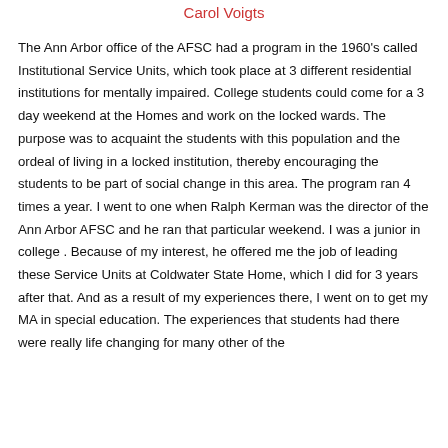Carol Voigts
The Ann Arbor office of the AFSC had a program in the 1960's called Institutional Service Units, which took place at 3 different residential institutions for mentally impaired. College students could come for a 3 day weekend at the Homes and work on the locked wards. The purpose was to acquaint the students with this population and the ordeal of living in a locked institution, thereby encouraging the students to be part of social change in this area. The program ran 4 times a year. I went to one when Ralph Kerman was the director of the Ann Arbor AFSC and he ran that particular weekend. I was a junior in college . Because of my interest, he offered me the job of leading these Service Units at Coldwater State Home, which I did for 3 years after that. And as a result of my experiences there, I went on to get my MA in special education. The experiences that students had there were really life changing for many other of the